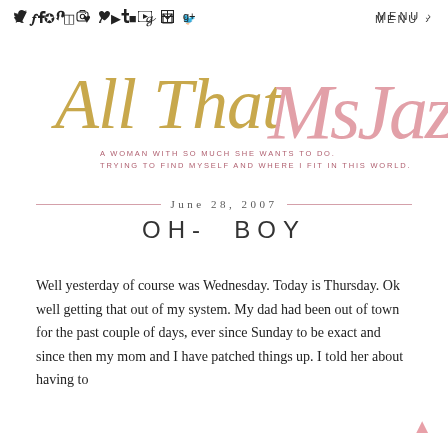Social icons: twitter, facebook, pinterest, instagram, heart, tumblr, youtube, flickr, google+ | MENU
[Figure (logo): Blog logo: 'All That' in gold cursive script, 'MsJazz' in pink cursive script, with tagline 'A WOMAN WITH SO MUCH SHE WANTS TO DO. TRYING TO FIND MYSELF AND WHERE I FIT IN THIS WORLD.']
June 28, 2007
OH- BOY
Well yesterday of course was Wednesday. Today is Thursday. Ok well getting that out of my system. My dad had been out of town for the past couple of days, ever since Sunday to be exact and since then my mom and I have patched things up. I told her about having to